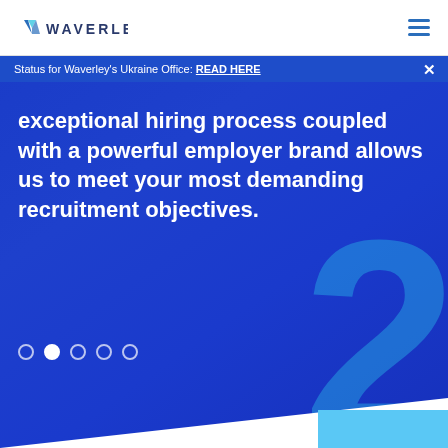WAVERLEY
Status for Waverley's Ukraine Office: READ HERE
exceptional hiring process coupled with a powerful employer brand allows us to meet your most demanding recruitment objectives.
[Figure (other): Carousel slide indicator with 5 dots, second dot active (filled white), others are outlined circles]
[Figure (illustration): Large decorative numeral '2' in light blue/cyan, partially visible at bottom right of blue hero section, with white diagonal slice and light blue accent rectangle at bottom right corner]